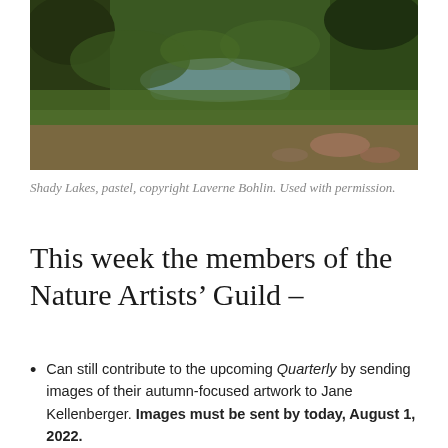[Figure (photo): Landscape painting of shady lakes with green vegetation, water reflections, and muted autumn colors — a pastel artwork by Laverne Bohlin.]
Shady Lakes, pastel, copyright Laverne Bohlin. Used with permission.
This week the members of the Nature Artists’ Guild –
Can still contribute to the upcoming Quarterly by sending images of their autumn-focused artwork to Jane Kellenberger. Images must be sent by today, August 1, 2022.